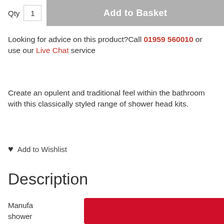Qty  1   Add to Basket
Looking for advice on this product?Call 01959 560010 or use our Live Chat service
Create an opulent and traditional feel within the bathroom with this classically styled range of shower head kits.
♥ Add to Wishlist
Description
Manufacturer shower